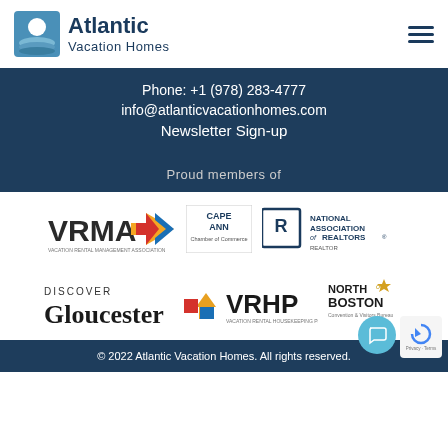[Figure (logo): Atlantic Vacation Homes logo with circular icon showing sun over ocean waves, and text 'Atlantic Vacation Homes']
Phone: +1 (978) 283-4777
info@atlanticvacationhomes.com
Newsletter Sign-up
Proud members of
[Figure (logo): VRMA Vacation Rental Management Association logo]
[Figure (logo): Cape Ann Chamber of Commerce logo]
[Figure (logo): National Association of Realtors logo]
[Figure (logo): Discover Gloucester logo]
[Figure (logo): VRHP Vacation Rental Housekeeping Professionals logo]
[Figure (logo): North of Boston Convention and Visitors Bureau logo]
© 2022 Atlantic Vacation Homes. All rights reserved.